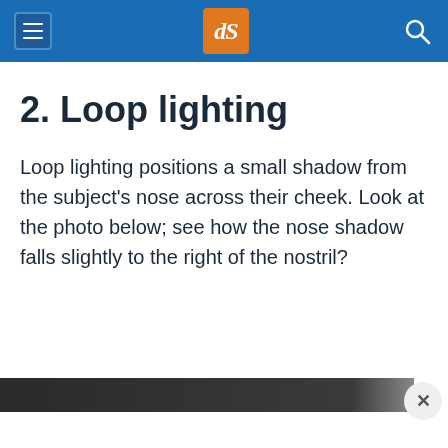dPS (logo)
2. Loop lighting
Loop lighting positions a small shadow from the subject's nose across their cheek. Look at the photo below; see how the nose shadow falls slightly to the right of the nostril?
[Figure (other): A dark horizontal bar at the bottom of the page representing a partially visible photo, with a close (×) button in the bottom-right corner]